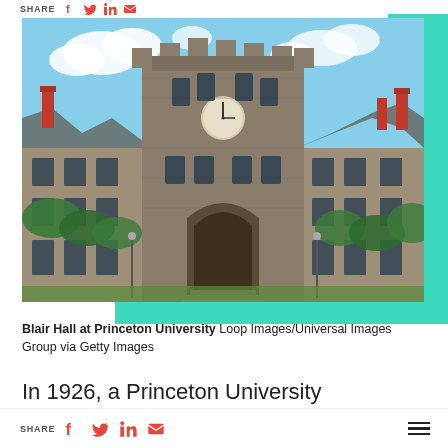SHARE [facebook] [twitter] [linkedin] [email]
[Figure (photo): Photograph of Blair Hall at Princeton University, a Gothic-style stone building with a central clock tower, archway entrance, and adjoining wings, set against a blue sky with clouds and green trees.]
Blair Hall at Princeton University Loop Images/Universal Images Group via Getty Images
In 1926, a Princeton University psychology professor named Carl Brigham administered an
SHARE [facebook] [twitter] [linkedin] [email] [menu]